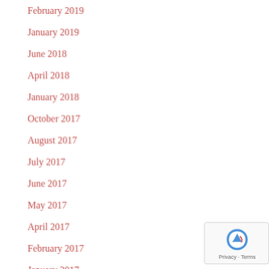February 2019
January 2019
June 2018
April 2018
January 2018
October 2017
August 2017
July 2017
June 2017
May 2017
April 2017
February 2017
January 2017
[Figure (logo): reCAPTCHA badge with Privacy and Terms links]